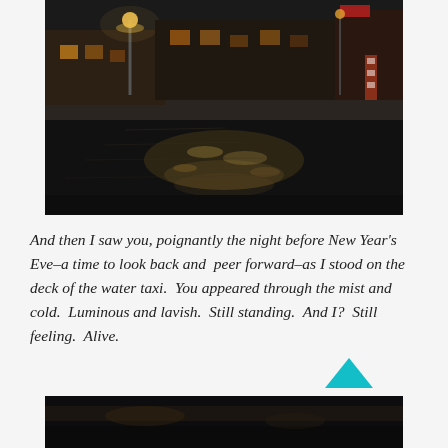[Figure (photo): Night-time photograph of a flooded Venetian piazza or waterfront. Dark water reflects warm artificial lights from buildings in the background. A lit street lamp and illuminated building facades are visible. The scene evokes Venice at night.]
And then I saw you, poignantly the night before New Year's Eve–a time to look back and peer forward–as I stood on the deck of the water taxi. You appeared through the mist and cold. Luminous and lavish. Still standing. And I? Still feeling. Alive.
[Figure (photo): Partial view of another night-time photograph at the bottom of the page, dark tones, similar Venice waterfront scene. A teal upward-pointing chevron/arrow icon overlays the image.]